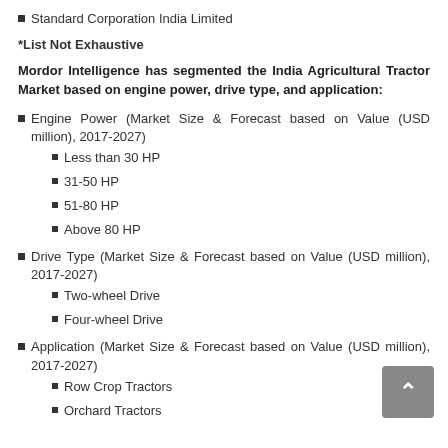Standard Corporation India Limited
*List Not Exhaustive
Mordor Intelligence has segmented the India Agricultural Tractor Market based on engine power, drive type, and application:
Engine Power (Market Size & Forecast based on Value (USD million), 2017-2027)
Less than 30 HP
31-50 HP
51-80 HP
Above 80 HP
Drive Type (Market Size & Forecast based on Value (USD million), 2017-2027)
Two-wheel Drive
Four-wheel Drive
Application (Market Size & Forecast based on Value (USD million), 2017-2027)
Row Crop Tractors
Orchard Tractors